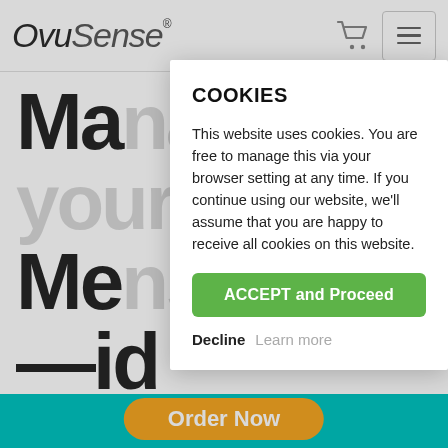[Figure (screenshot): OvuSense website header with logo, cart icon, and hamburger menu button]
Ma…r Me… — id St… Try… Co…
COOKIES
This website uses cookies. You are free to manage this via your browser setting at any time. If you continue using our website, we’ll assume that you are happy to receive all cookies on this website.
ACCEPT and Proceed
Decline   Learn more
Order Now